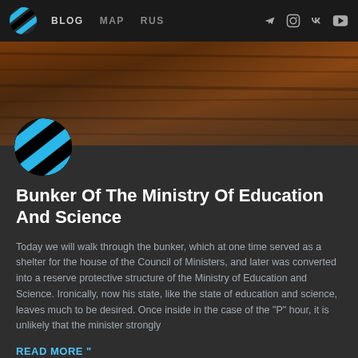BLOG  MAP  RUS
[Figure (photo): Wooden textured background hero image in dark brown tones]
[Figure (logo): Circular logo with diagonal blue and black stripes]
Bunker Of The Ministry Of Education And Science
Today we will walk through the bunker, which at one time served as a shelter for the house of the Council of Ministers, and later was converted into a reserve protective structure of the Ministry of Education and Science. Ironically, now his state, like the state of education and science, leaves much to be desired. Once inside in the case of the "P" hour, it is unlikely that the minister strongly
READ MORE "